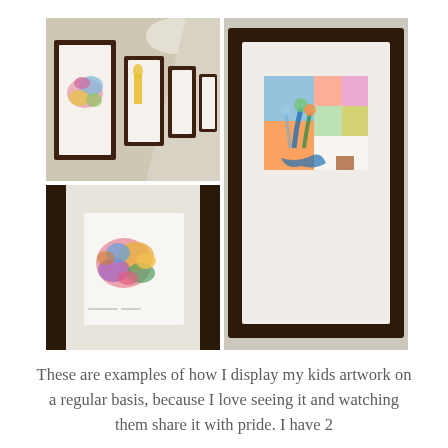[Figure (photo): Three photos arranged in a collage: top-left shows a hallway with multiple framed children's artworks in dark brown frames on a white wall; bottom-left shows a close-up of a colorful children's flower painting displayed on a white wall between dark frames; right side shows a large framed colorful abstract/floral children's artwork in a dark brown frame on white wall.]
These are examples of how I display my kids artwork on a regular basis, because I love seeing it and watching them share it with pride. I have 2